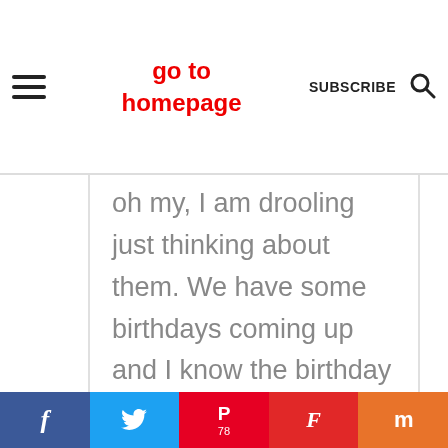go to homepage | SUBSCRIBE
oh my, I am drooling just thinking about them. We have some birthdays coming up and I know the birthday boys would love to have me make
f | tweet | P 78 | F | m